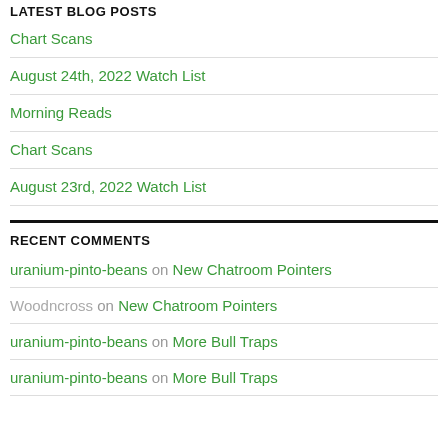LATEST BLOG POSTS
Chart Scans
August 24th, 2022 Watch List
Morning Reads
Chart Scans
August 23rd, 2022 Watch List
RECENT COMMENTS
uranium-pinto-beans on New Chatroom Pointers
Woodncross on New Chatroom Pointers
uranium-pinto-beans on More Bull Traps
uranium-pinto-beans on More Bull Traps